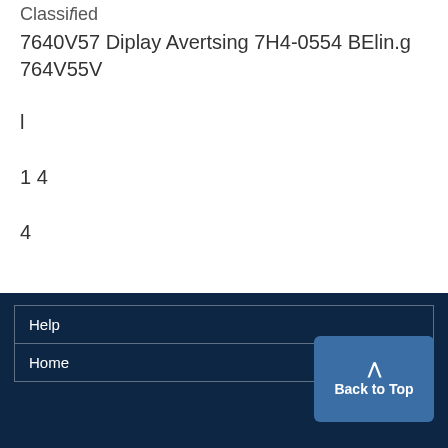Classified
7640V57 Diplay Avertsing 7H4-0554 BElin.g 764V55V
l
1 4
4
Help
Home
Back to Top